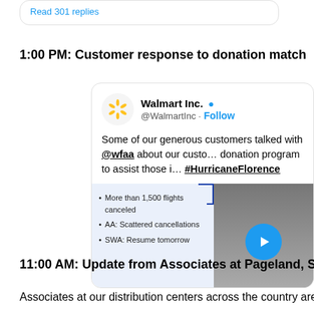[Figure (screenshot): Partial tweet card showing 'Read 301 replies' link in blue]
1:00 PM: Customer response to donation match
[Figure (screenshot): Walmart Inc. tweet showing @WalmartInc account with verified badge, Follow button, tweet text about customers talking with @wfaa about customer donation program for Hurricane Florence, with embedded media showing flight cancellations bulletin and a video thumbnail]
11:00 AM: Update from Associates at Pageland, SC Distributi...
Associates at our distribution centers across the country are y...